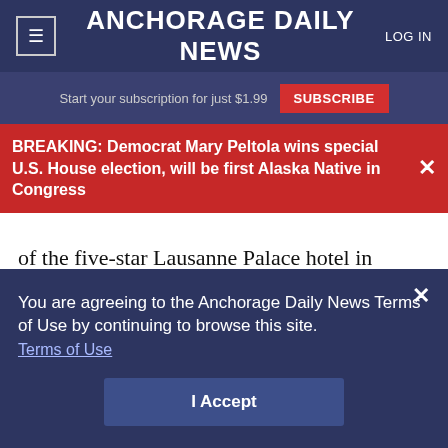≡  ANCHORAGE DAILY NEWS  LOG IN
Start your subscription for just $1.99  SUBSCRIBE
BREAKING: Democrat Mary Peltola wins special U.S. House election, will be first Alaska Native in Congress
of the five-star Lausanne Palace hotel in Switzerland this month. He explained that WADA was better suited to offer sports federations and countries advice when they asked for it rather than
You are agreeing to the Anchorage Daily News Terms of Use by continuing to browse this site.
Terms of Use
I Accept